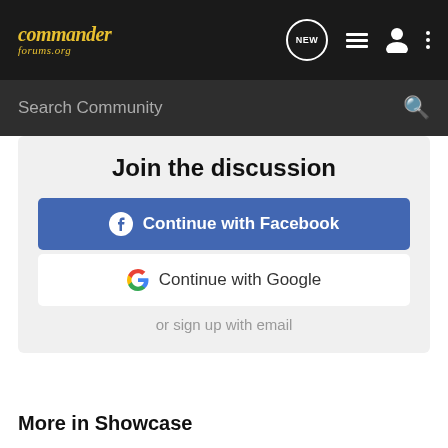commander forums.org
Search Community
Join the discussion
Continue with Facebook
Continue with Google
or sign up with email
More in Showcase
2019 commander
My commander
Sun setting into the Olympics